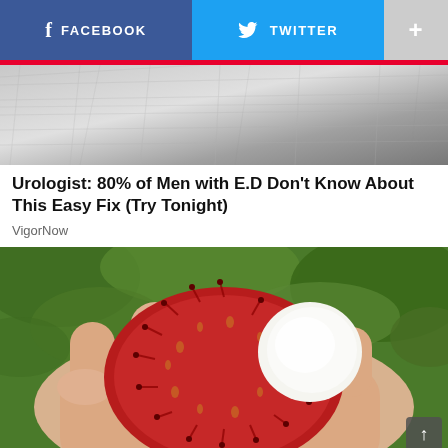[Figure (screenshot): Social media share bar with Facebook (blue), Twitter (light blue), and plus (+) grey buttons]
[Figure (photo): Close-up of grey/white textured surface, possibly animal fur or fabric]
Urologist: 80% of Men with E.D Don't Know About This Easy Fix (Try Tonight)
VigorNow
[Figure (photo): Hand holding an open rambutan fruit showing white interior and red spiky exterior, with green foliage background]